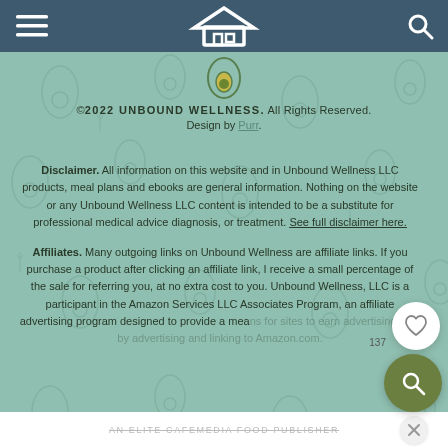Navigation bar with hamburger menu, house logo, and search icon
[Figure (logo): House/home outline logo in white on teal navigation bar]
©2022 UNBOUND WELLNESS. All Rights Reserved. Design by Purr.
Disclaimer. All information on this website and in Unbound Wellness LLC products, meal plans and ebooks are general information. Nothing on the website or any Unbound Wellness LLC content is intended to be a substitute for professional medical advice diagnosis, or treatment. See full disclaimer here.
Affiliates. Many outgoing links on Unbound Wellness are affiliate links. If you purchase a product after clicking an affiliate link, I receive a small percentage of the sale for referring you, at no extra cost to you. Unbound Wellness, LLC is a participant in the Amazon Services LLC Associates Program, an affiliate advertising program designed to provide a means for sites to earn advertising fees by advertising and linking to Amazon.com.
AN ELITE CAFEMEDIA FOOD PUBLISHER